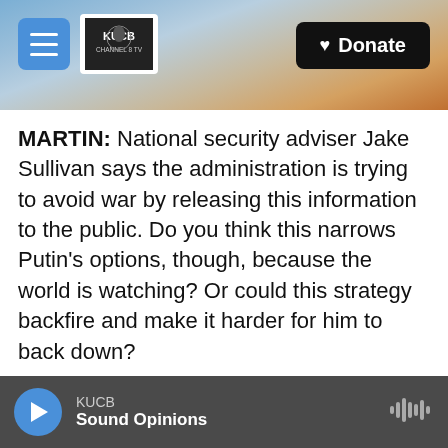[Figure (screenshot): Website header with mountain landscape background. Contains hamburger menu button (blue), KUCB Channel 8 TV logo, and black Donate button with heart icon.]
MARTIN: National security adviser Jake Sullivan says the administration is trying to avoid war by releasing this information to the public. Do you think this narrows Putin's options, though, because the world is watching? Or could this strategy backfire and make it harder for him to back down?
HERBST: I don't see this as backfiring. I mean, it's possible that everything the administration is doing will not prove enough to stay Putin's hand. But I don't see this as a problem because despite what some people think, Putin has the ability to retreat on a dime. He could turn around in a second. He
KUCB  Sound Opinions